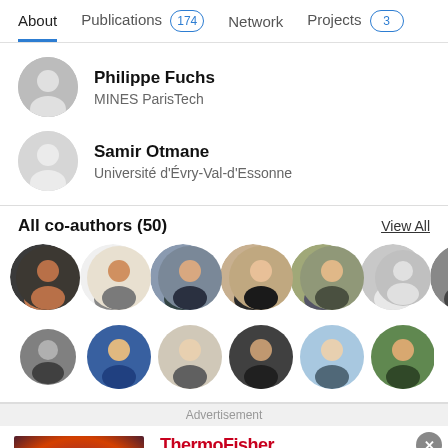About | Publications 174 | Network | Projects 3
Philippe Fuchs
MINES ParisTech
Samir Otmane
Université d'Évry-Val-d'Essonne
All co-authors (50)
View All
[Figure (photo): Grid of circular profile photos of co-authors, 10 in first row and 6 in second row]
Advertisement
[Figure (photo): ThermoFisher Scientific advertisement showing KingFisher Duo Prime System with product image on left and logo and product title on right]
KingFisher Duo Prime System